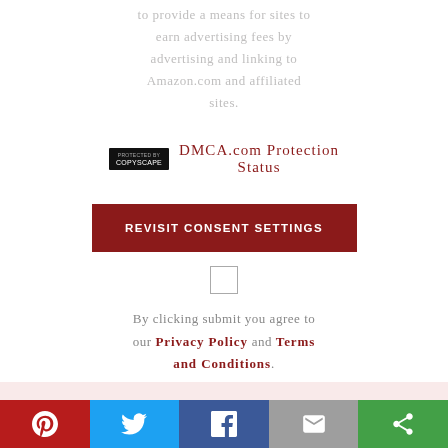to provide a means for sites to earn advertising fees by advertising and linking to Amazon.com and affiliated sites.
[Figure (logo): DMCA.com Protected badge (black rectangle with white text 'PROTECTED BY COPYSCAPE') followed by text 'DMCA.com Protection Status' in dark red]
REVISIT CONSENT SETTINGS (button)
By clicking submit you agree to our Privacy Policy and Terms and Conditions.
[Figure (infographic): Social share bar with Pinterest (red), Twitter (blue), Facebook (dark blue), Email (grey), More (green) buttons]